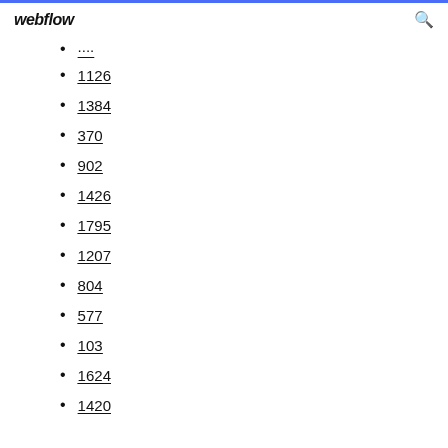webflow
....
1126
1384
370
902
1426
1795
1207
804
577
103
1624
1420